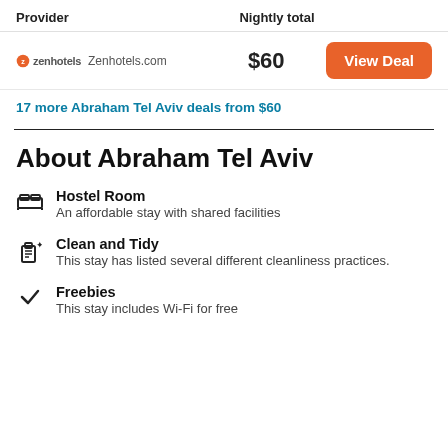| Provider | Nightly total |  |
| --- | --- | --- |
| Zenhotels.com | $60 | View Deal |
17 more Abraham Tel Aviv deals from $60
About Abraham Tel Aviv
Hostel Room — An affordable stay with shared facilities
Clean and Tidy — This stay has listed several different cleanliness practices.
Freebies — This stay includes Wi-Fi for free